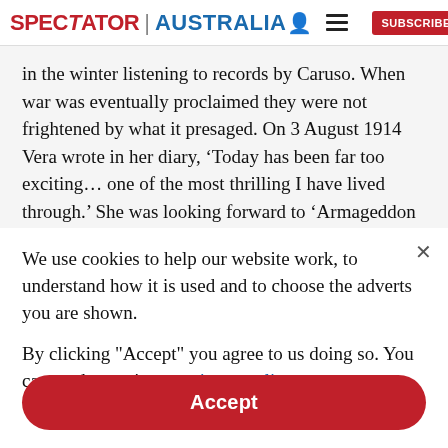SPECTATOR | AUSTRALIA
in the winter listening to records by Caruso. When war was eventually proclaimed they were not frightened by what it presaged. On 3 August 1914 Vera wrote in her diary, ‘Today has been far too exciting… one of the most thrilling I have lived through.’ She was looking forward to ‘Armageddon in Europe’.
We use cookies to help our website work, to understand how it is used and to choose the adverts you are shown.
By clicking "Accept" you agree to us doing so. You can read more in our privacy policy.
Accept